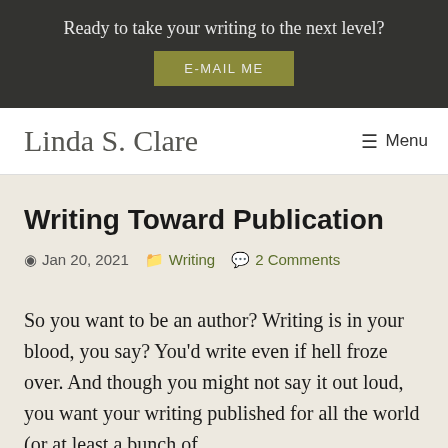Ready to take your writing to the next level?
E-MAIL ME
Linda S. Clare
☰ Menu
Writing Toward Publication
Jan 20, 2021  Writing  2 Comments
So you want to be an author? Writing is in your blood, you say? You'd write even if hell froze over. And though you might not say it out loud, you want your writing published for all the world (or at least a bunch of